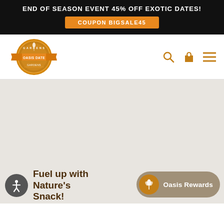END OF SEASON EVENT 45% OFF EXOTIC DATES! COUPON BIGSALE45
[Figure (logo): Oasis Date Gardens logo — circular badge with orange ribbon banner, wheat motif, text 'OASIS DATE GARDENS']
[Figure (infographic): Large gray empty main content hero image area]
Fuel up with Nature's Snack!
[Figure (logo): Oasis Rewards button with grain icon on tan/brown pill-shaped background]